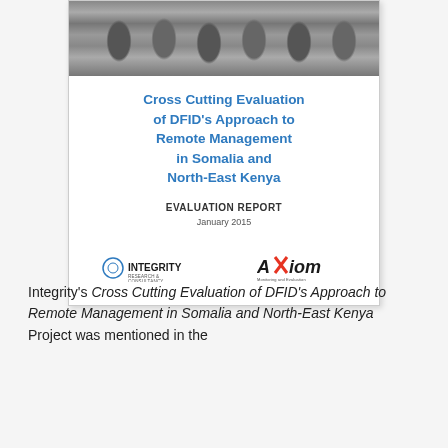[Figure (photo): Cover page of a government evaluation report showing a grayscale crowd photo at top, blue bold title text, subtitle EVALUATION REPORT, date January 2015, and logos for Integrity Research & Consultancy and AXiom Monitoring and Evaluation]
Integrity's Cross Cutting Evaluation of DFID's Approach to Remote Management in Somalia and North-East Kenya Project was mentioned in the